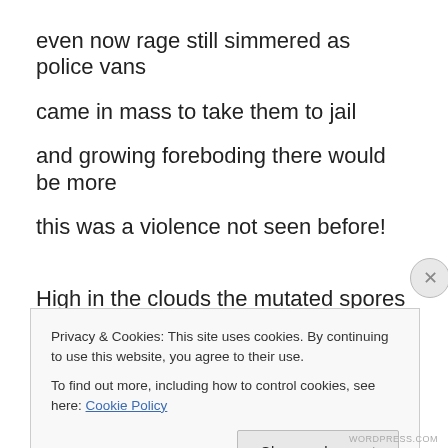even now rage still simmered as police vans
came in mass to take them to jail
and growing foreboding there would be more
this was a violence not seen before!
High in the clouds the mutated spores began to fall
where they had lived for centuries
Privacy & Cookies: This site uses cookies. By continuing to use this website, you agree to their use.
To find out more, including how to control cookies, see here: Cookie Policy
Close and accept